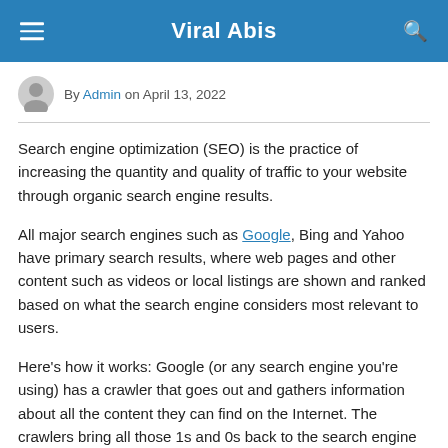Viral Abis
By Admin on April 13, 2022
Search engine optimization (SEO) is the practice of increasing the quantity and quality of traffic to your website through organic search engine results.
All major search engines such as Google, Bing and Yahoo have primary search results, where web pages and other content such as videos or local listings are shown and ranked based on what the search engine considers most relevant to users.
Here's how it works: Google (or any search engine you're using) has a crawler that goes out and gathers information about all the content they can find on the Internet. The crawlers bring all those 1s and 0s back to the search engine to build an index. That index is then fed through an algorithm that tries to match all that data with your query.